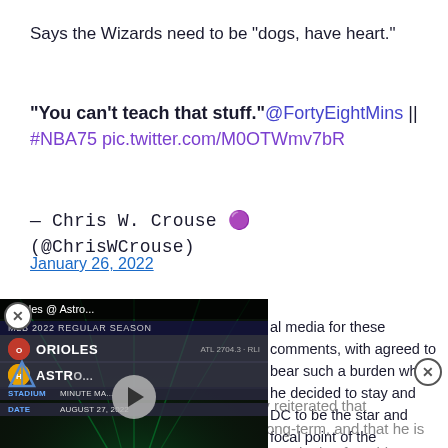Says the Wizards need to be “dogs, have heart.”
“You can’t teach that stuff.” @FortyEightMins || #NBA75 pic.twitter.com/M0OTWmv7bR
— Chris W. Crouse 🟣 (@ChrisWCrouse)
January 26, 2022
[Figure (screenshot): Embedded video player showing MLB 2022 regular season game: Orioles @ Astros, with play button, team logos, stadium (Minute Maid), date August 27, 2022]
al media for these comments, with agreed to bear such a burden when he decided to stay and DC to be the star and focal point of the franchise. While Beal has consistently reiterated that Washington is where he wants to be long-term, and that he is committed to building the Wizards into a winning franchise, every man has